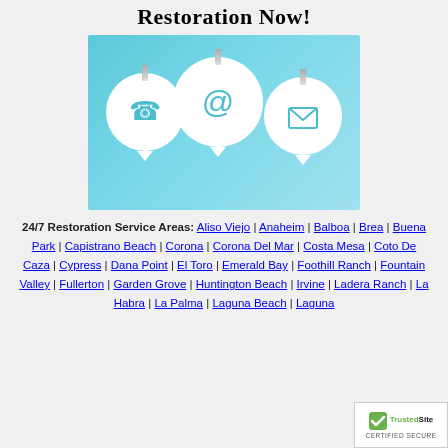Restoration Now!
[Figure (illustration): Three speech bubbles on a blue background, each containing a contact icon: a telephone, an @ symbol, and an envelope/mail icon.]
24/7 Restoration Service Areas: Aliso Viejo | Anaheim | Balboa | Brea | Buena Park | Capistrano Beach | Corona | Corona Del Mar | Costa Mesa | Coto De Caza | Cypress | Dana Point | El Toro | Emerald Bay | Foothill Ranch | Fountain Valley | Fullerton | Garden Grove | Huntington Beach | Irvine | Ladera Ranch | La Habra | La Palma | Laguna Beach | Laguna
[Figure (logo): TrustedSite Certified Secure badge with green checkmark]